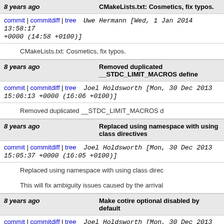8 years ago   CMakeLists.txt: Cosmetics, fix typos.
commit | commitdiff | tree   Uwe Hermann [Wed, 1 Jan 2014 13:58:17 +0000 (14:58 +0100)]
CMakeLists.txt: Cosmetics, fix typos.
8 years ago   Removed duplicated __STDC_LIMIT_MACROS define
commit | commitdiff | tree   Joel Holdsworth [Mon, 30 Dec 2013 15:06:13 +0000 (16:06 +0100)]
Removed duplicated __STDC_LIMIT_MACROS d
8 years ago   Replaced using namespace with using class directives
commit | commitdiff | tree   Joel Holdsworth [Mon, 30 Dec 2013 15:05:37 +0000 (16:05 +0100)]
Replaced using namespace with using class direc
This will fix ambiguity issues caused by the arrival
8 years ago   Make cotire optional disabled by default
commit | commitdiff | tree   Joel Holdsworth [Mon, 30 Dec 2013